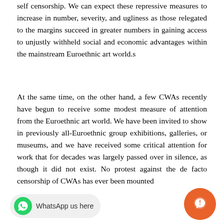self censorship. We can expect these repressive measures to increase in number, severity, and ugliness as those relegated to the margins succeed in greater numbers in gaining access to unjustly withheld social and economic advantages within the mainstream Euroethnic art world.s
At the same time, on the other hand, a few CWAs recently have begun to receive some modest measure of attention from the Euroethnic art world. We have been invited to show in previously all-Euroethnic group exhibitions, galleries, or museums, and we have received some critical attention for work that for decades was largely passed over in silence, as though it did not exist. No protest against the de facto censorship of CWAs has ever been mounted
[Figure (other): WhatsApp button with green WhatsApp logo and text 'WhatsApp us here' on grey rounded pill background]
[Figure (other): Orange circular chat bubble button in bottom right corner]